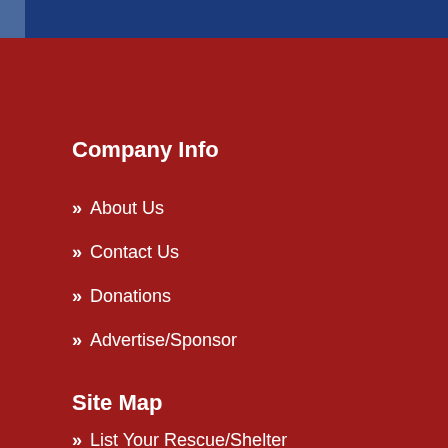[Figure (other): Blue header bar at top of page]
Company Info
» About Us
» Contact Us
» Donations
» Advertise/Sponsor
Site Map
» List Your Rescue/Shelter